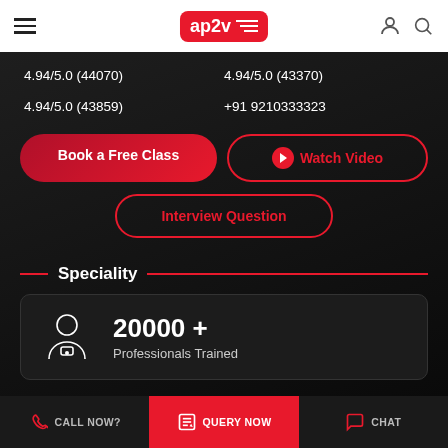[Figure (screenshot): ap2v website header with hamburger menu, logo, user icon and search icon]
4.94/5.0 (44070)
4.94/5.0 (43370)
4.94/5.0 (43859)
+91 9210333323
Book a Free Class
Watch Video
Interview Question
Speciality
20000 +
Professionals Trained
CALL NOW?
QUERY NOW
CHAT